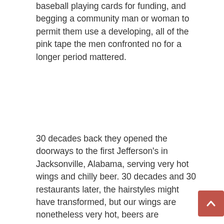baseball playing cards for funding, and begging a community man or woman to permit them use a developing, all of the pink tape the men confronted no for a longer period mattered.
30 decades back they opened the doorways to the first Jefferson's in Jacksonville, Alabama, serving very hot wings and chilly beer. 30 decades and 30 restaurants later, the hairstyles might have transformed, but our wings are nonetheless very hot, beers are nonetheless chilly, and we continue to enjoy serving our buyers! Thank you to every person who has supported us by the decades at any of our places to eat! Cheers to 30 several years and 30 extra!